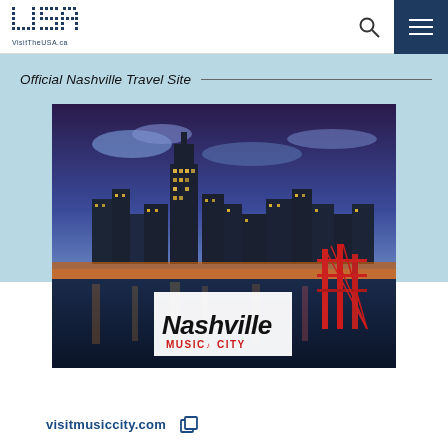VisitTheUSA.ca
Official Nashville Travel Site
[Figure (photo): Nashville skyline at dusk with city lights, tall buildings, a river, and a red bridge visible. Nashville Music City logo overlay in lower center.]
visitmusiccity.com